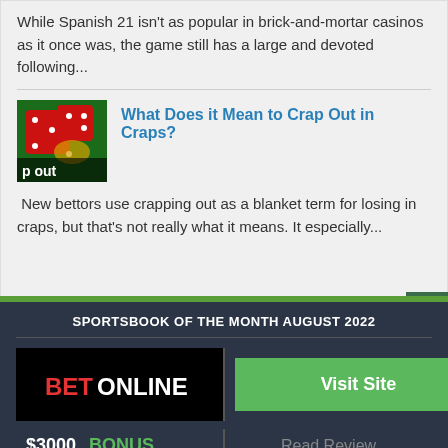While Spanish 21 isn't as popular in brick-and-mortar casinos as it once was, the game still has a large and devoted following...
[Figure (photo): Thumbnail image of red dice on a green casino table with text 'p out' overlaid at the bottom]
What Does it Mean to Crap Out in Craps?
New bettors use crapping out as a blanket term for losing in craps, but that's not really what it means. It especially...
SPORTSBOOK OF THE MONTH AUGUST 2022
[Figure (logo): BetOnline logo — BET in red, ONLINE in white on black background]
Visit Site
$3000  BONUS
Read Review